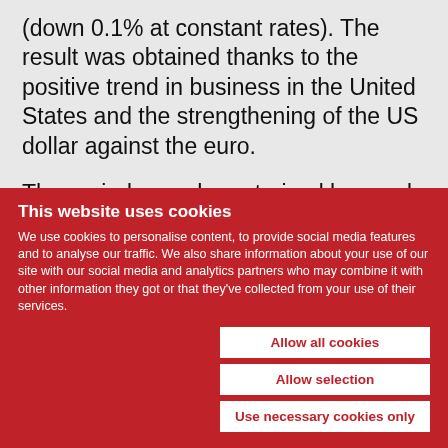(down 0.1% at constant rates). The result was obtained thanks to the positive trend in business in the United States and the strengthening of the US dollar against the euro.
The period was characterized by good sales performance at airports, the Group's main channel, with 20.7%[1] growth on 1st quarter 2014. The positive trend in airports offset substantially stable revenues[2] in the motorway channel, where growth in North
This website uses cookies
We use cookies to personalise content, to provide social media features and to analyse our traffic. We also share information about your use of our site with our social media and analytics partners who may combine it with other information they got or that they've collected from your use of their services.
Allow all cookies
Allow selection
Use necessary cookies only